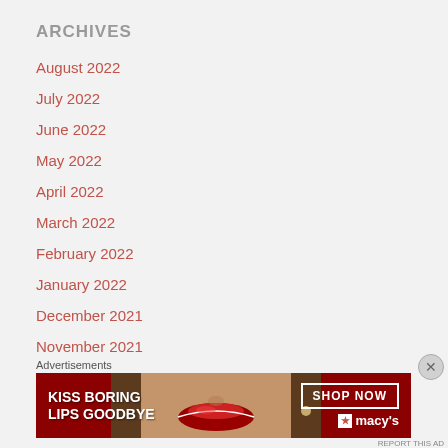ARCHIVES
August 2022
July 2022
June 2022
May 2022
April 2022
March 2022
February 2022
January 2022
December 2021
November 2021
October 2021
Advertisements
[Figure (photo): Macy's advertisement banner: 'KISS BORING LIPS GOODBYE' with a woman's face and red lips, SHOP NOW button and Macy's logo]